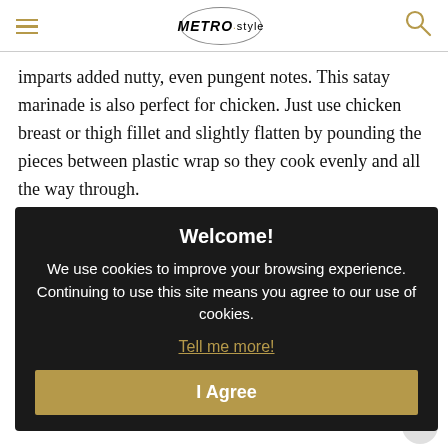METRO.style
imparts added nutty, even pungent notes. This satay marinade is also perfect for chicken. Just use chicken breast or thigh fillet and slightly flatten by pounding the pieces between plastic wrap so they cook evenly and all the way through.
Pork Satay
Serves 4
1/2 ... pork strips
1/2 cup peanut butter, sweet and creamy variety
1/2 cup honey
1/2 cup brewed soy sauce
3 tablespoons fresh green lemon juice
3 cloves garlic, minced
[Figure (screenshot): Cookie consent modal overlay with dark background. Title: 'Welcome!'. Body: 'We use cookies to improve your browsing experience. Continuing to use this site means you agree to our use of cookies.' Link: 'Tell me more!' Button: 'I Agree']